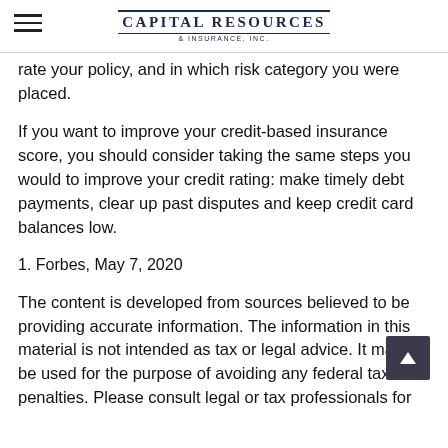Capital Resources & Insurance, Inc.
rate your policy, and in which risk category you were placed.
If you want to improve your credit-based insurance score, you should consider taking the same steps you would to improve your credit rating: make timely debt payments, clear up past disputes and keep credit card balances low.
1. Forbes, May 7, 2020
The content is developed from sources believed to be providing accurate information. The information in this material is not intended as tax or legal advice. It may not be used for the purpose of avoiding any federal tax penalties. Please consult legal or tax professionals for